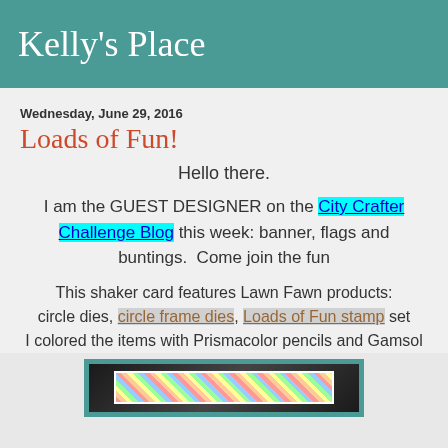Kelly's Place
Wednesday, June 29, 2016
Loads of Fun!
Hello there.
I am the GUEST DESIGNER on the City Crafter Challenge Blog this week: banner, flags and buntings.  Come join the fun
This shaker card features Lawn Fawn products: circle dies, circle frame dies, Loads of Fun stamp set I colored the items with Prismacolor pencils and Gamsol
[Figure (photo): A shaker card photo partially visible at the bottom of the page, showing a colorful diamond/argyle patterned card with a teal border frame.]